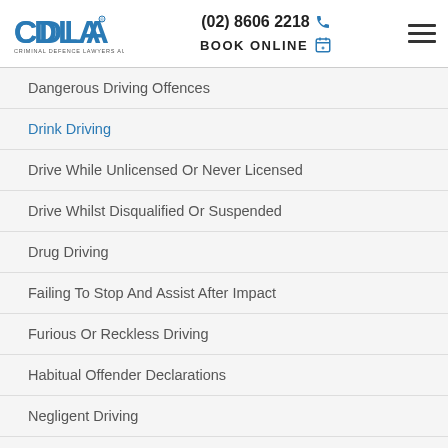CDLA – Criminal Defence Lawyers Australia | (02) 8606 2218 | BOOK ONLINE
Dangerous Driving Offences
Drink Driving
Drive While Unlicensed Or Never Licensed
Drive Whilst Disqualified Or Suspended
Drug Driving
Failing To Stop And Assist After Impact
Furious Or Reckless Driving
Habitual Offender Declarations
Negligent Driving
Police Pursuit